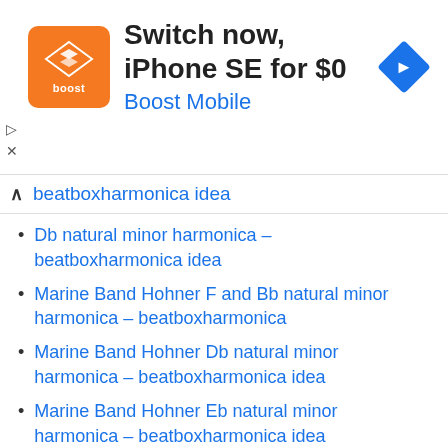[Figure (screenshot): Boost Mobile advertisement banner: orange square logo with 'boost' text, headline 'Switch now, iPhone SE for $0', subtext 'Boost Mobile', and a blue diamond navigation icon on the right.]
beatboxharmonica idea
Db natural minor harmonica – beatboxharmonica idea
Marine Band Hohner F and Bb natural minor harmonica – beatboxharmonica
Marine Band Hohner Db natural minor harmonica – beatboxharmonica idea
Marine Band Hohner Eb natural minor harmonica – beatboxharmonica idea
Lee Oskar MM (Melody Maker) E , beatboxharmonica idea
Lee Oskar MM (Melody Maker) G , beatboxharmonica idea